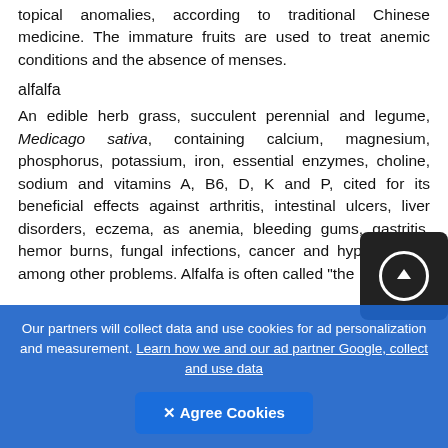topical anomalies, according to traditional Chinese medicine. The immature fruits are used to treat anemic conditions and the absence of menses.
alfalfa
An edible herb grass, succulent perennial and legume, Medicago sativa, containing calcium, magnesium, phosphorus, potassium, iron, essential enzymes, choline, sodium and vitamins A, B6, D, K and P, cited for its beneficial effects against arthritis, intestinal ulcers, liver disorders, eczema, as anemia, bleeding gums, gastritis, hemor burns, fungal infections, cancer and hypertension, among other problems. Alfalfa is often called "the
Our partners will collect data and use cookies for ad personalization and measurement. Learn how we and our ad partner Google, collect and use data